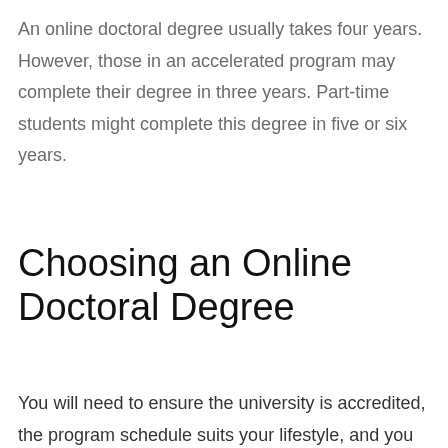An online doctoral degree usually takes four years. However, those in an accelerated program may complete their degree in three years. Part-time students might complete this degree in five or six years.
Choosing an Online Doctoral Degree
You will need to ensure the university is accredited, the program schedule suits your lifestyle, and you